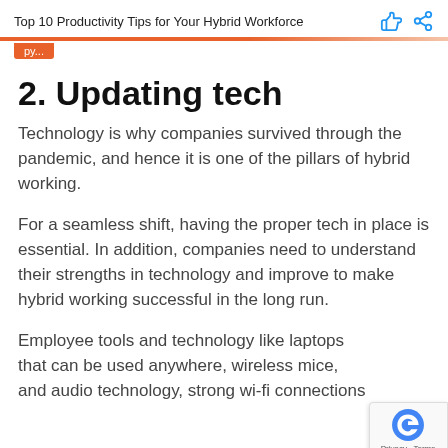Top 10 Productivity Tips for Your Hybrid Workforce
2. Updating tech
Technology is why companies survived through the pandemic, and hence it is one of the pillars of hybrid working.
For a seamless shift, having the proper tech in place is essential. In addition, companies need to understand their strengths in technology and improve to make hybrid working successful in the long run.
Employee tools and technology like laptops that can be used anywhere, wireless mice, and audio technology, strong wi-fi connections